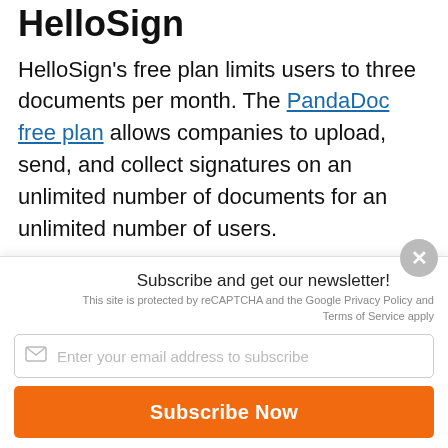HelloSign
HelloSign’s free plan limits users to three documents per month. The PandaDoc free plan allows companies to upload, send, and collect signatures on an unlimited number of documents for an unlimited number of users.
Also, while HelloSign integrates only with Salesforce and HubSpot, PandaDoc boasts more than a dozen customer relationship management (CRM) integrations
Subscribe and get our newsletter!
This site is protected by reCAPTCHA and the Google Privacy Policy and Terms of Service apply
Enter your email address to subscribe
Subscribe Now